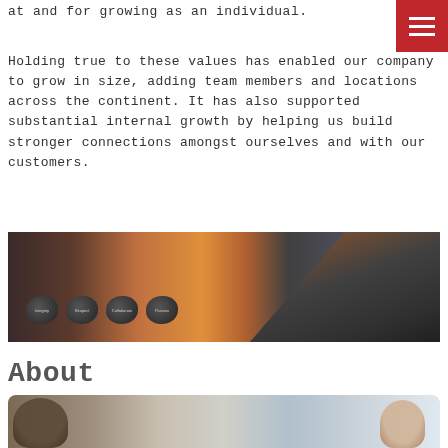at and for growing as an individual.
Holding true to these values has enabled our company to grow in size, adding team members and locations across the continent. It has also supported substantial internal growth by helping us build stronger connections amongst ourselves and with our customers.
[Figure (photo): Panoramic photo composite showing dark stones with words (Integrity, Respect, Collaborate, Passion) on the left half and a desert highway stretching into the horizon with a dramatic sunset sky on the right half.]
About
[Figure (photo): Photo of two people in what appears to be a dealership or office setting — a man wearing a cap on the left and a woman smiling on the right, with a computer monitor and vehicles visible in the background.]